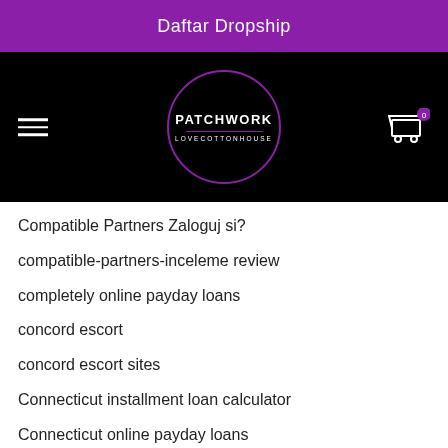Daftar Dropship
[Figure (logo): Patchwork Lovecottonhouse logo in a purple circle on black navigation bar with hamburger menu and cart icon showing 0 items]
Compatible Partners Zaloguj si?
compatible-partners-inceleme review
completely online payday loans
concord escort
concord escort sites
Connecticut installment loan calculator
Connecticut online payday loans
Connecticut payday loans near me